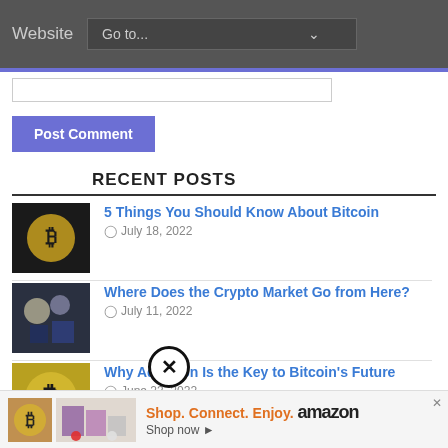Website  Go to...
Post Comment
RECENT POSTS
5 Things You Should Know About Bitcoin — July 18, 2022
Where Does the Crypto Market Go from Here? — July 11, 2022
Why Adoption Is the Key to Bitcoin's Future — June 23, 2022
[Figure (screenshot): Amazon advertisement: Shop. Connect. Enjoy. Shop now ▸ amazon]